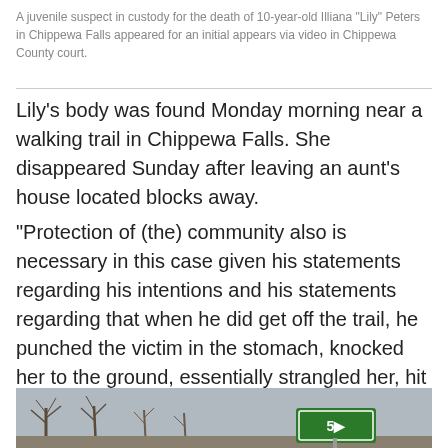A juvenile suspect in custody for the death of 10-year-old Illiana "Lily" Peters in Chippewa Falls appeared for an initial appears via video in Chippewa County court.
Lily’s body was found Monday morning near a walking trail in Chippewa Falls. She disappeared Sunday after leaving an aunt’s house located blocks away.
"Protection of (the) community also is necessary in this case given his statements regarding his intentions and his statements regarding that when he did get off the trail, he punched the victim in the stomach, knocked her to the ground, essentially strangled her, hit her with a stick, before strangling her to the point of death -- before he then sexually assaulted her," Newell told the judge at the bond hearing.
[Figure (photo): Outdoor scene showing bare trees and a green road sign, partially visible at bottom of page.]